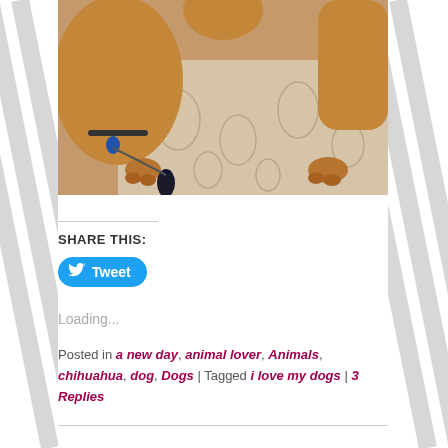[Figure (photo): Close-up photo of dogs on a patterned fabric/bedspread. A golden/tan dog is visible with paws showing, and a small dark object (toy or treat) is in the foreground.]
SHARE THIS:
Tweet
Loading...
Posted in a new day, animal lover, Animals, chihuahua, dog, Dogs | Tagged i love my dogs | 3 Replies